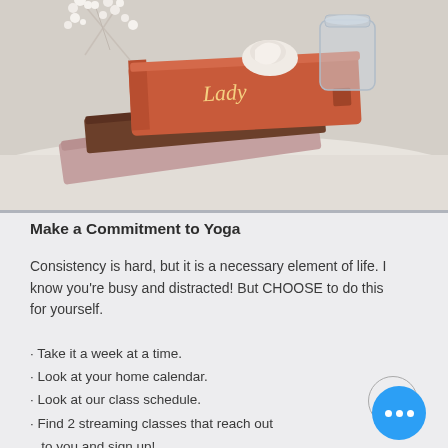[Figure (photo): Photo of books stacked on a white surface, including an orange/coral hardcover book titled 'Lady', with white floral branches in the background and a glass jar.]
Make a Commitment to Yoga
Consistency is hard, but it is a necessary element of life. I know you're busy and distracted! But CHOOSE to do this for yourself.
· Take it a week at a time.
· Look at your home calendar.
· Look at our class schedule.
· Find 2 streaming classes that reach out to you and sign up!
· Put these on your calendar.
· Add 3 home practices to your calendar on days when you're not signed up for a live stream class.